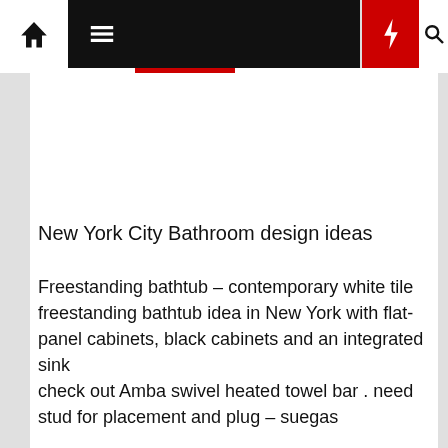Navigation bar with home, menu, moon, bolt, and search icons
New York City Bathroom design ideas
Freestanding bathtub – contemporary white tile freestanding bathtub idea in New York with flat-panel cabinets, black cabinets and an integrated sink
check out Amba swivel heated towel bar . need stud for placement and plug – suegas